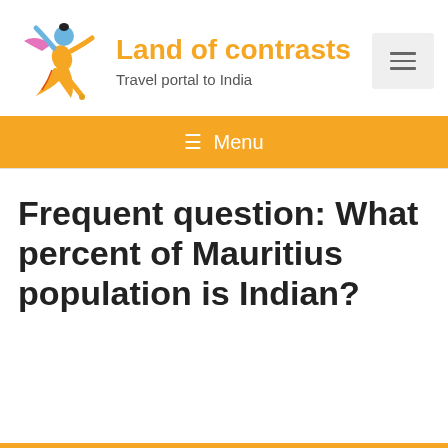[Figure (logo): Dancing Indian classical dancer figure in orange and yellow costume, blue skin, stylized illustration — logo for Land of contrasts travel portal]
Land of contrasts
Travel portal to India
☰ Menu
Frequent question: What percent of Mauritius population is Indian?